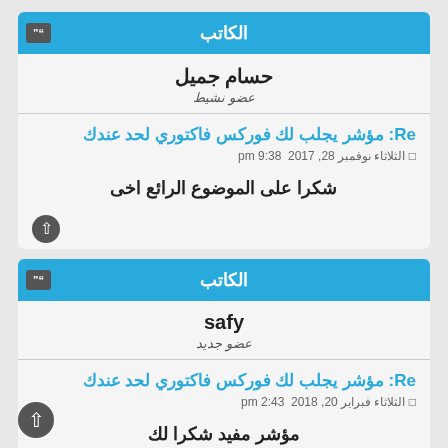الكاتب
حسام جميل
عضو نشيط
Re: مؤشر يجلب لك فوركس فاكتوري لحد عندك
الثلاثاء نوفمبر 28, 2017 9:38 pm
شكرا على الموضوع الرائع اخى
الكاتب
safy
عضو جديد
Re: مؤشر يجلب لك فوركس فاكتوري لحد عندك
الثلاثاء فبراير 20, 2018 2:43 pm
مؤشر مفيد شكرا لك